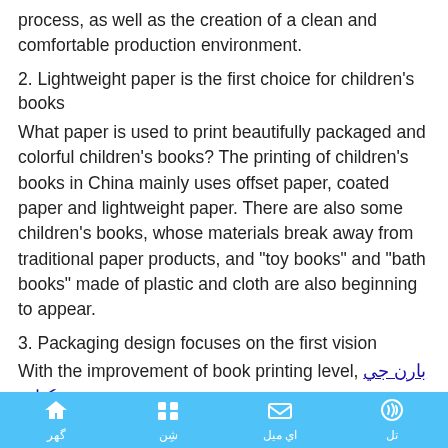process, as well as the creation of a clean and comfortable production environment.
2. Lightweight paper is the first choice for children's books
What paper is used to print beautifully packaged and colorful children's books? The printing of children's books in China mainly uses offset paper, coated paper and lightweight paper. There are also some children's books, whose materials break away from traditional paper products, and "toy books" and "bath books" made of plastic and cloth are also beginning to appear.
3. Packaging design focuses on the first vision
With the improvement of book printing level, بارن جي ڪتاٻ جي ڇپائي has broken through the traditional printing methods of paperback and hardcover. Many of the techniques originally used for packaging printing and screen printing have been applied to the covers of children's books. Internationally popular large-sized children's books have
گهر  شِن  اي ميل  تل